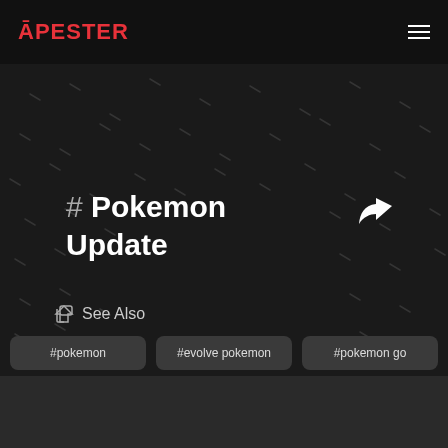APESTER
# Pokemon Update
See Also
#pokemon
#evolve pokemon
#pokemon go